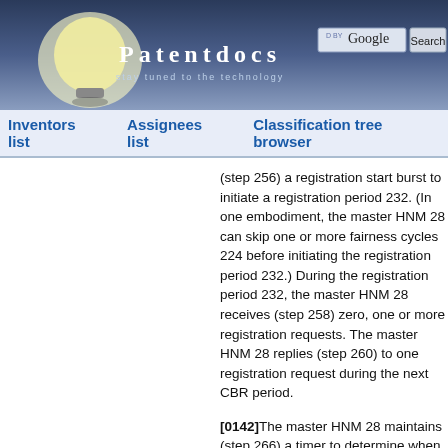[Figure (screenshot): Patentdocs website header with lightbulb logo, site name, tagline 'stay tuned to the technology', and Google search bar with Search button]
Inventors list | Assignees list | Classification tree browser
(step 256) a registration start burst to initiate a registration period 232. (In one embodiment, the master HNM 28 can skip one or more fairness cycles 224 before initiating the registration period 232.) During the registration period 232, the master HNM 28 receives (step 258) zero, one or more registration requests. The master HNM 28 replies (step 260) to one registration request during the next CBR period.
[0142]The master HNM 28 maintains (step 266) a timer to determine when